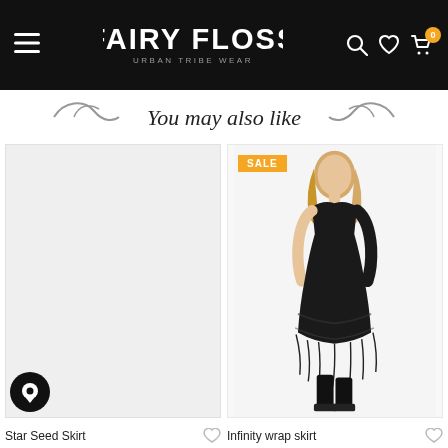Fairy Floss Urban Tribe Wear — navigation header with logo, hamburger menu, search, wishlist, and cart icons
You may also like
[Figure (photo): Product card: Star Seed Skirt — grey/white placeholder product image, no model]
[Figure (photo): Product card: Infinity wrap skirt — model wearing black lace layered skirt with black crop top and platform boots, SALE badge in orange]
Star Seed Skirt
Infinity wrap skirt